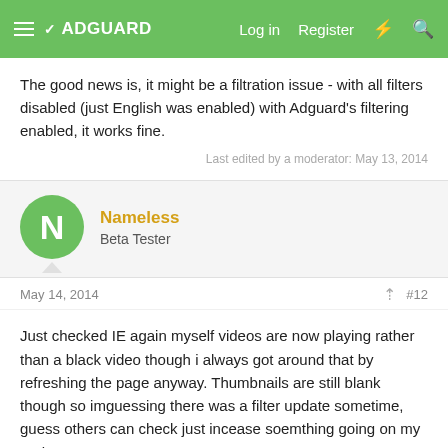ADGUARD  Log in  Register
The good news is, it might be a filtration issue - with all filters disabled (just English was enabled) with Adguard's filtering enabled, it works fine.
Last edited by a moderator: May 13, 2014
Nameless
Beta Tester
May 14, 2014  #12
Just checked IE again myself videos are now playing rather than a black video though i always got around that by refreshing the page anyway. Thumbnails are still blank though so imguessing there was a filter update sometime, guess others can check just incease soemthing going on my end.